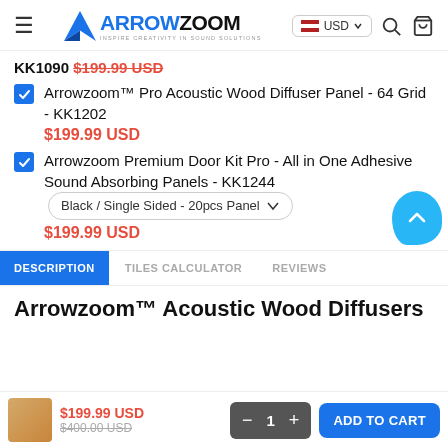Arrowzoom - Inspire Creativity in Sound Solutions | USD currency selector | search | cart
KK1090 $199.99 USD
Arrowzoom™ Pro Acoustic Wood Diffuser Panel - 64 Grid - KK1202  $199.99 USD
Arrowzoom Premium Door Kit Pro - All in One Adhesive Sound Absorbing Panels - KK1244  Black / Single Sided - 20pcs Panel  $199.99 USD
DESCRIPTION  TILES CALCULATOR  REVIEWS
Arrowzoom™ Acoustic Wood Diffusers
$199.99 USD  $400.00 USD  − 1 +  ADD TO CART